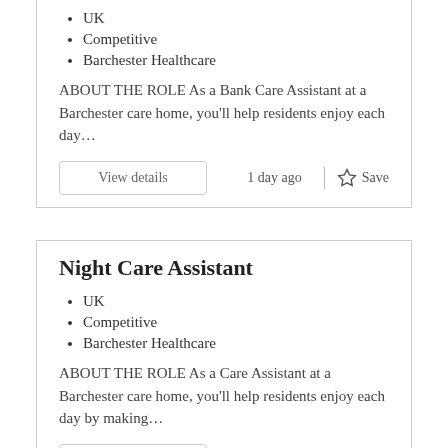UK
Competitive
Barchester Healthcare
ABOUT THE ROLE As a Bank Care Assistant at a Barchester care home, you'll help residents enjoy each day…
View details
1 day ago | Save
Night Care Assistant
UK
Competitive
Barchester Healthcare
ABOUT THE ROLE As a Care Assistant at a Barchester care home, you'll help residents enjoy each day by making…
View details
1 day ago | Save